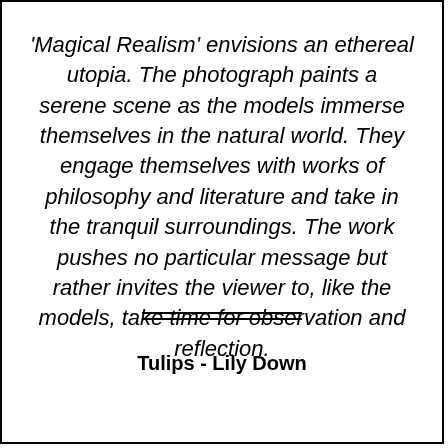'Magical Realism' envisions an ethereal utopia. The photograph paints a serene scene as the models immerse themselves in the natural world. They engage themselves with works of philosophy and literature and take in the tranquil surroundings. The work pushes no particular message but rather invites the viewer to, like the models, take time for observation and reflection.
Tulips - Lily Down